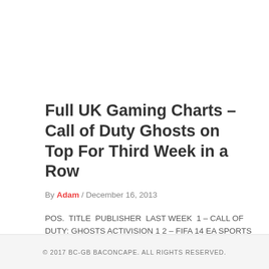Full UK Gaming Charts – Call of Duty Ghosts on Top For Third Week in a Row
By Adam / December 16, 2013
POS.  TITLE  PUBLISHER  LAST WEEK  1 – CALL OF DUTY: GHOSTS ACTIVISION 1 2 – FIFA 14 EA SPORTS 2 3 LEGO…
© 2017 BC-GB BACONCAPE. ALL RIGHTS RESERVED.